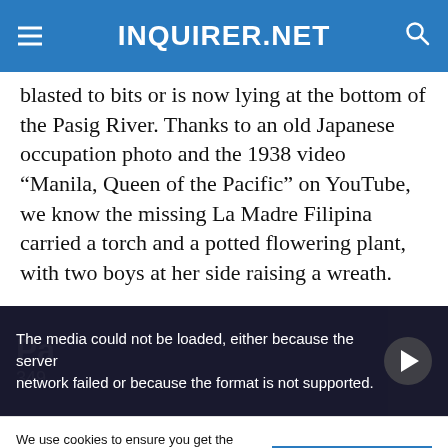INQUIRER.NET
blasted to bits or is now lying at the bottom of the Pasig River. Thanks to an old Japanese occupation photo and the 1938 video “Manila, Queen of the Pacific” on YouTube, we know the missing La Madre Filipina carried a torch and a potted flowering plant, with two boys at her side raising a wreath.
[Figure (screenshot): Embedded video player showing a media error message: 'The media could not be loaded, either because the server or network failed or because the format is not supported.' Background shows faded text with 'Pa...' and '349...' with a play button icon on the right.]
We use cookies to ensure you get the best experience on our website. By continuing, you are agreeing to our use of cookies. To find out more, please click this link.